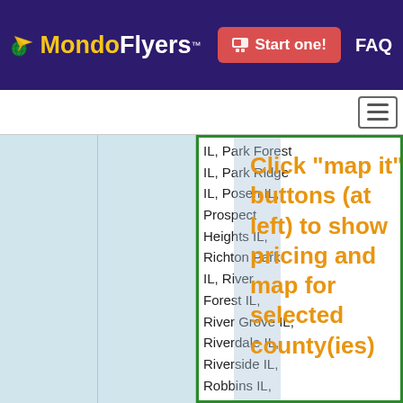MondoFlyers™ — Start one! — FAQ
[Figure (screenshot): MondoFlyers website header with logo, Start one! button, and FAQ link on dark purple background]
IL, Park Forest
IL, Park Ridge
IL, Posen IL, Prospect Heights IL, Richton Park IL, River Forest IL, River Grove IL, Riverdale IL, Riverside IL, Robbins IL, Rolling Meadows IL, Schaumburg IL, Schiller Park IL, Skokie IL, South
Click "map it" buttons (at left) to show pricing and map for selected county(ies)